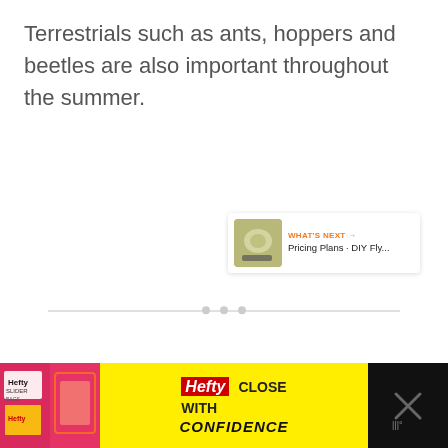Terrestrials such as ants, hoppers and beetles are also important throughout the summer.
[Figure (other): Large light gray placeholder/ad content box with three small gray loading dots centered inside it, with a heart favorite button (orange circle, count 14), share button, and a 'What's Next' panel showing a thumbnail and text 'Pricing Plans · DIY Fly...']
[Figure (other): Advertisement banner for Hefty Slider bags showing colorful ad with Hefty brand logo and 'CLOSE WITH CONFIDENCE' tagline on yellow background, with close button on dark background]